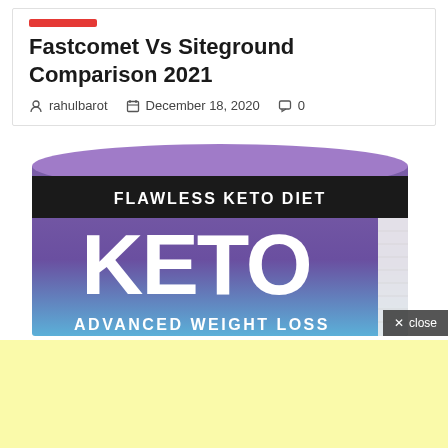Fastcomet Vs Siteground Comparison 2021
rahulbarot   December 18, 2020   0
[Figure (photo): A cylindrical container of 'Flawless Keto Diet' product with purple-to-blue gradient, large white text reading KETO and smaller text ADVANCED WEIGHT LOSS]
× close